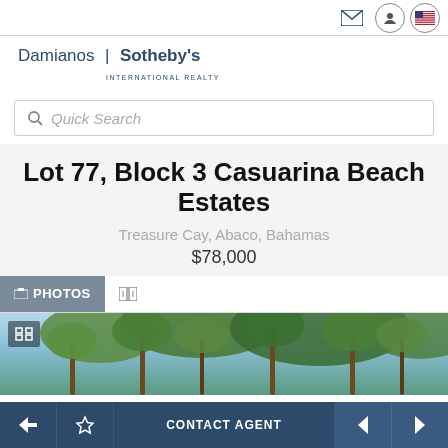Damianos | Sotheby's INTERNATIONAL REALTY
Quick Search
Lot 77, Block 3 Casuarina Beach Estates
Treasure Cay, Abaco, Bahamas
$78,000
[Figure (photo): Photo of tropical beach property with palm trees]
CONTACT AGENT